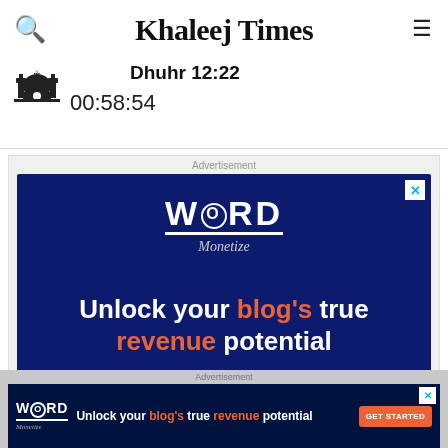Khaleej Times
Dhuhr 12:22
00:58:54
Advertisement
[Figure (screenshot): Word Monetize advertisement on dark blue background. Text: 'Unlock your blog's true revenue potential. Streamline Monetization, Site Speed and More. GET STARTED']
Advertisement
[Figure (screenshot): Word Monetize bottom banner ad. Text: 'Unlock your blog's true revenue potential. GET STARTED']